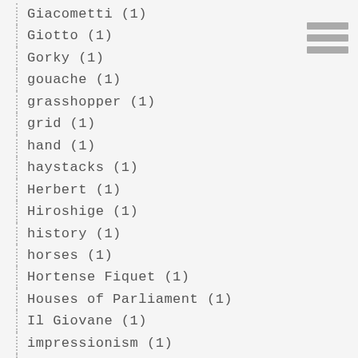Giacometti (1)
Giotto (1)
Gorky (1)
gouache (1)
grasshopper (1)
grid (1)
hand (1)
haystacks (1)
Herbert (1)
Hiroshige (1)
history (1)
horses (1)
Hortense Fiquet (1)
Houses of Parliament (1)
Il Giovane (1)
impressionism (1)
Ingres (1)
ink (1)
ivory (1)